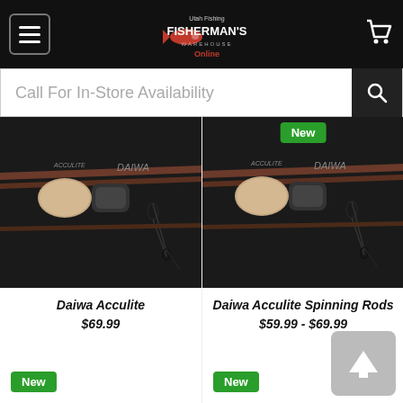[Figure (screenshot): Fisherman's Online store header with hamburger menu, logo, and cart icon on black background]
Call For In-Store Availability
[Figure (photo): Daiwa Acculite fishing rod product image showing handle and guides with dark background]
Daiwa Acculite
$69.99
New
[Figure (photo): Daiwa Acculite Spinning Rods product image showing handle and guides with New badge, dark background]
Daiwa Acculite Spinning Rods
$59.99 - $69.99
New